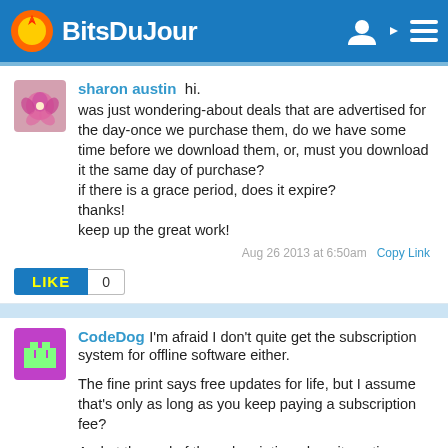Bits Du Jour
sharon austin  hi.
was just wondering-about deals that are advertised for the day-once we purchase them, do we have some time before we download them, or, must you download it the same day of purchase?
if there is a grace period, does it expire?
thanks!
keep up the great work!
Aug 26 2013 at 6:50am   Copy Link
LIKE  0
CodeDog  I'm afraid I don't quite get the subscription system for offline software either.

The fine print says free updates for life, but I assume that's only as long as you keep paying a subscription fee?